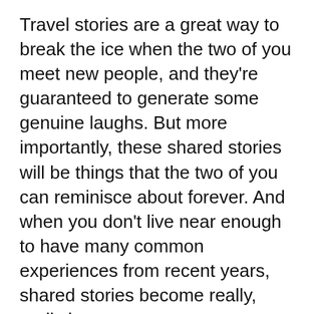Travel stories are a great way to break the ice when the two of you meet new people, and they're guaranteed to generate some genuine laughs. But more importantly, these shared stories will be things that the two of you can reminisce about forever. And when you don't live near enough to have many common experiences from recent years, shared stories become really, really important.
3. Someone will know what you've been through, even the things you can't describe.
You know when the sunset is perfect, but